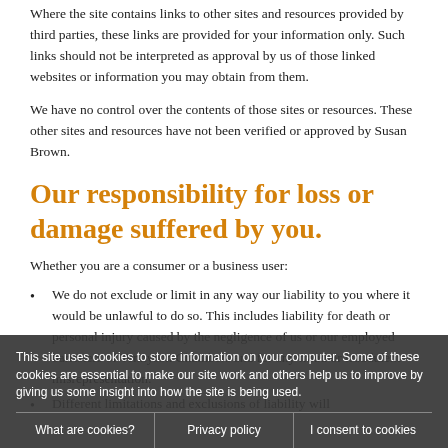Where the site contains links to other sites and resources provided by third parties, these links are provided for your information only. Such links should not be interpreted as approval by us of those linked websites or information you may obtain from them.
We have no control over the contents of those sites or resources. These other sites and resources have not been verified or approved by Susan Brown.
Our responsibility for loss or damage suffered by you.
Whether you are a consumer or a business user:
We do not exclude or limit in any way our liability to you where it would be unlawful to do so. This includes liability for death or personal injury caused by the negligence of us or our employed barristers of Tennyson Chambers and for any fraud or fraudulent misrepresentation.
Different limitations and exclusions of liability will
This site uses cookies to store information on your computer. Some of these cookies are essential to make our site work and others help us to improve by giving us some insight into how the site is being used.